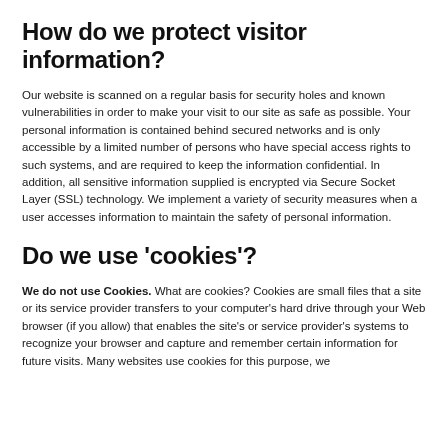How do we protect visitor information?
Our website is scanned on a regular basis for security holes and known vulnerabilities in order to make your visit to our site as safe as possible. Your personal information is contained behind secured networks and is only accessible by a limited number of persons who have special access rights to such systems, and are required to keep the information confidential. In addition, all sensitive information supplied is encrypted via Secure Socket Layer (SSL) technology. We implement a variety of security measures when a user accesses information to maintain the safety of personal information.
Do we use 'cookies'?
We do not use Cookies. What are cookies? Cookies are small files that a site or its service provider transfers to your computer's hard drive through your Web browser (if you allow) that enables the site's or service provider's systems to recognize your browser and capture and remember certain information for future visits. Many websites use cookies for this purpose, we